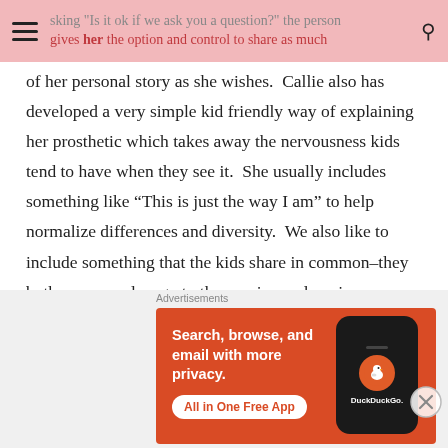sking "Is it ok if we ask you a question?" the person gives her the option and control to share as much
of her personal story as she wishes.  Callie also has developed a very simple kid friendly way of explaining her prosthetic which takes away the nervousness kids tend to have when they see it.  She usually includes something like “This is just the way I am” to help normalize differences and diversity.  We also like to include something that the kids share in common–they both can run, play, go to the movies, or love ice cream.  We want to
Advertisements
[Figure (infographic): DuckDuckGo advertisement banner with orange background. Text reads: Search, browse, and email with more privacy. All in One Free App. Shows a smartphone mockup with the DuckDuckGo logo.]